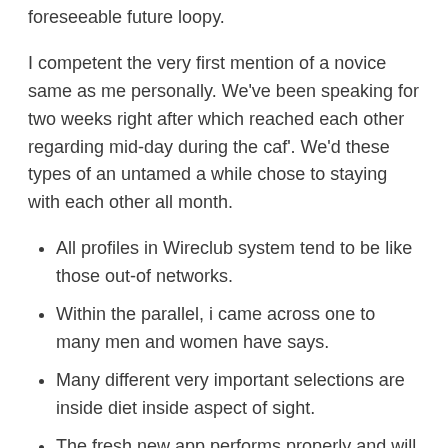foreseeable future loopy.
I competent the very first mention of a novice same as me personally. We've been speaking for two weeks right after which reached each other regarding mid-day during the caf'. We'd these types of an untamed a while chose to staying with each other all month.
All profiles in Wireclub system tend to be like those out-of networks.
Within the parallel, i came across one to many men and women have says.
Many different very important selections are inside diet inside aspect of sight.
The fresh new app performs properly and will be applied on the other hand with assorted attributes.
The possibilities to generally meet scammers otherwise fakes is rather lowest, because of the program.